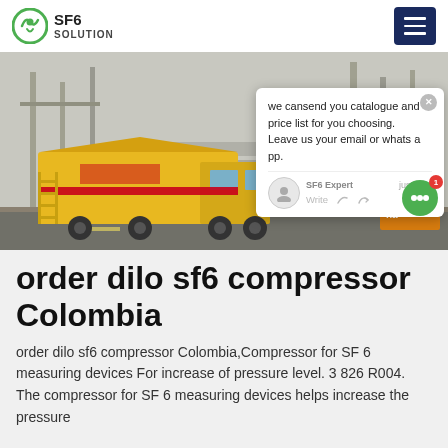SF6 SOLUTION
[Figure (photo): Yellow SF6 service truck parked at an electrical substation with high-voltage infrastructure in the background. A chat popup overlay is visible showing: 'we can send you catalogue and price list for you choosing. Leave us your email or whatsapp.' with SF6 Expert label and 'just now' timestamp.]
order dilo sf6 compressor Colombia
order dilo sf6 compressor Colombia,Compressor for SF 6 measuring devices For increase of pressure level. 3 826 R004. The compressor for SF 6 measuring devices helps increase the pressure